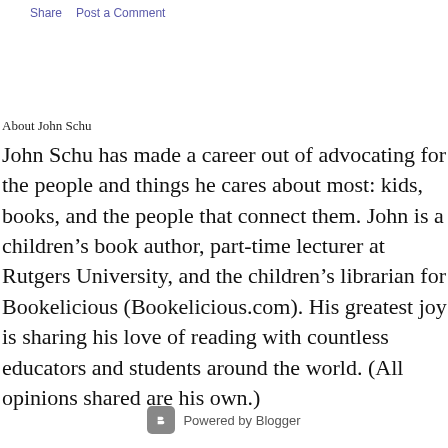Share    Post a Comment
About John Schu
John Schu has made a career out of advocating for the people and things he cares about most: kids, books, and the people that connect them. John is a children's book author, part-time lecturer at Rutgers University, and the children's librarian for Bookelicious (Bookelicious.com). His greatest joy is sharing his love of reading with countless educators and students around the world. (All opinions shared are his own.)
Powered by Blogger